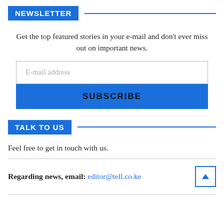NEWSLETTER
Get the top featured stories in your e-mail and don’t ever miss out on important news.
E-mail address
SUBSCRIBE
TALK TO US
Feel free to get in touch with us.
Regarding news, email: editor@tell.co.ke